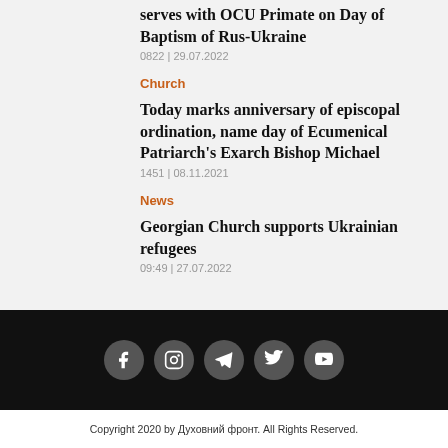serves with OCU Primate on Day of Baptism of Rus-Ukraine
0822 | 29.07.2022
Church
Today marks anniversary of episcopal ordination, name day of Ecumenical Patriarch's Exarch Bishop Michael
1451 | 08.11.2021
News
Georgian Church supports Ukrainian refugees
09:49 | 27.07.2022
Copyright 2020 by Духовний фронт. All Rights Reserved.